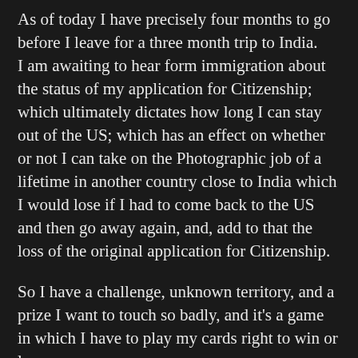As of today I have precisely four months to go before I leave for a three month trip to India. I am awaiting to hear form immigration about the status of my application for Citizenship; which ultimately dictates how long I can stay out of the US; which has an effect on whether or not I can take on the Photographic job of a lifetime in another country close to India which I would lose if I had to come back to the US and then go away again, and, add to that the loss of the original application for Citizenship.
So I have a challenge, unknown territory, and a prize I want to touch so badly, and it's a game in which I have to play my cards right to win or lose. If I lose, I still get to go to India, but without the kudos of having shot the job of a lifetime and the experiential weight of having shot in that place which could put my photographic